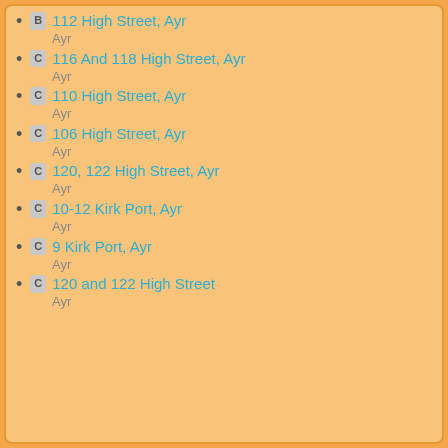B 112 High Street, Ayr
Ayr
C 116 And 118 High Street, Ayr
Ayr
C 110 High Street, Ayr
Ayr
C 106 High Street, Ayr
Ayr
C 120, 122 High Street, Ayr
Ayr
C 10-12 Kirk Port, Ayr
Ayr
C 9 Kirk Port, Ayr
Ayr
C 120 and 122 High Street
Ayr